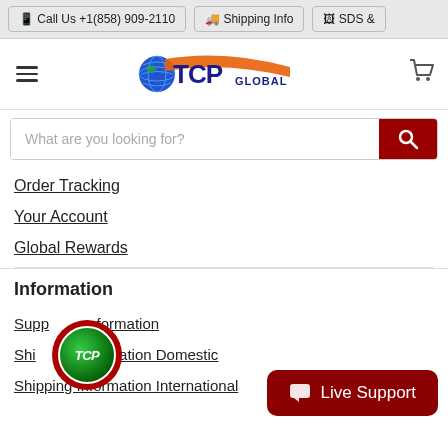📱 Call Us +1(858) 909-2110   🚚 Shipping Info   🖼 SDS &
[Figure (logo): TCP Global logo with globe icon and orange swoosh]
What are you looking for?
Order Tracking
Your Account
Global Rewards
Information
Supp... formation
Shi... formation Domestic
Shipping Information International
[Figure (logo): TCP circular red badge logo]
Live Support